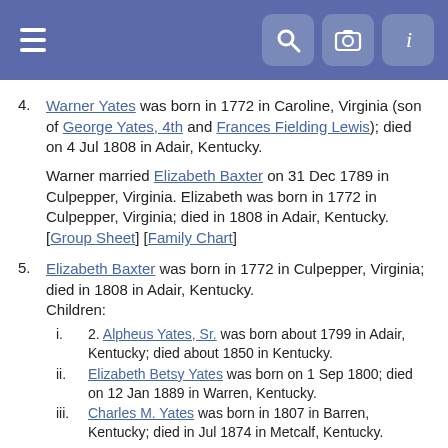Navigation header with hamburger menu and search, camera, info icons
4. Warner Yates was born in 1772 in Caroline, Virginia (son of George Yates, 4th and Frances Fielding Lewis); died on 4 Jul 1808 in Adair, Kentucky.
Warner married Elizabeth Baxter on 31 Dec 1789 in Culpepper, Virginia. Elizabeth was born in 1772 in Culpepper, Virginia; died in 1808 in Adair, Kentucky. [Group Sheet] [Family Chart]
5. Elizabeth Baxter was born in 1772 in Culpepper, Virginia; died in 1808 in Adair, Kentucky.
Children:
i. 2. Alpheus Yates, Sr. was born about 1799 in Adair, Kentucky; died about 1850 in Kentucky.
ii. Elizabeth Betsy Yates was born on 1 Sep 1800; died on 12 Jan 1889 in Warren, Kentucky.
iii. Charles M. Yates was born in 1807 in Barren, Kentucky; died in Jul 1874 in Metcalf, Kentucky.
Generation: 4
8. George Yates, 4th was born in 1727 in Caroline, Virginia (son of [George Yates, 3rd and Anne Gaines); died on 11 Dec 1777...